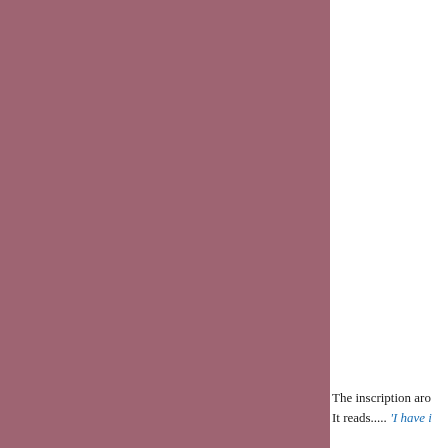[Figure (illustration): Large solid mauve/dusty rose colored rectangular block occupying the left approximately three-quarters of the page]
The inscription aro
It reads..... 'I have i